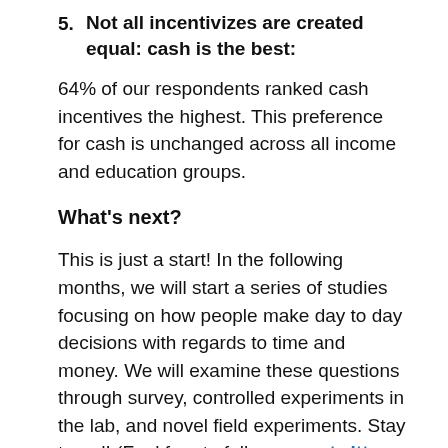5. Not all incentivizes are created equal: cash is the best:
64% of our respondents ranked cash incentives the highest. This preference for cash is unchanged across all income and education groups.
What’s next?
This is just a start! In the following months, we will start a series of studies focusing on how people make day to day decisions with regards to time and money. We will examine these questions through survey, controlled experiments in the lab, and novel field experiments. Stay tuned! (Feel free to follow us on twitter and/or contact us)